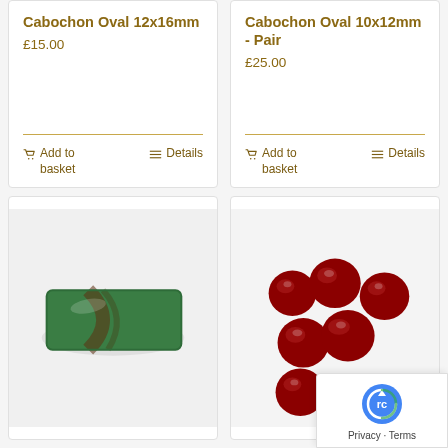Cabochon Oval 12x16mm
£15.00
Add to basket
Details
Cabochon Oval 10x12mm - Pair
£25.00
Add to basket
Details
[Figure (photo): Green rectangular cabochon stone with brown veining on white background]
[Figure (photo): Six dark red round cabochon gemstones arranged on white background]